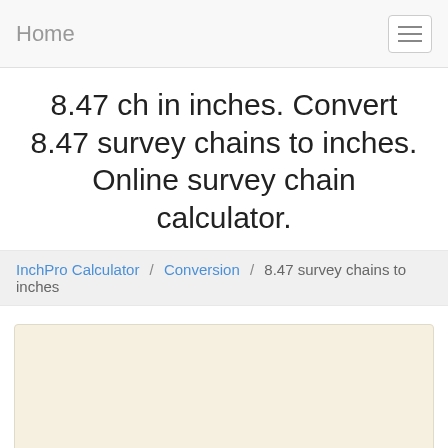Home
8.47 ch in inches. Convert 8.47 survey chains to inches. Online survey chain calculator.
InchPro Calculator / Conversion / 8.47 survey chains to inches
[Figure (other): A beige/cream colored rectangular content area placeholder]